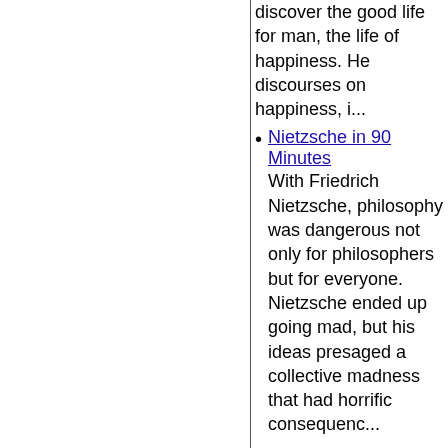discover the good life for man, the life of happiness. He discourses on happiness, i...
Nietzsche in 90 Minutes — With Friedrich Nietzsche, philosophy was dangerous not only for philosophers but for everyone. Nietzsche ended up going mad, but his ideas presaged a collective madness that had horrific consequenc...
Philosophies of India, The — India has perhaps the oldest living philosophical tradition in the world. Its philosophies share five